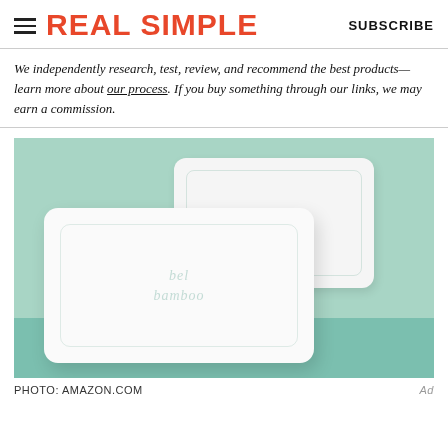REAL SIMPLE  SUBSCRIBE
We independently research, test, review, and recommend the best products—learn more about our process. If you buy something through our links, we may earn a commission.
[Figure (photo): Two white bamboo pillows on a mint/teal background. A larger pillow is in the foreground on the left, a smaller pillow behind it on the right. The pillows have a subtle watermark logo text on them.]
PHOTO: AMAZON.COM